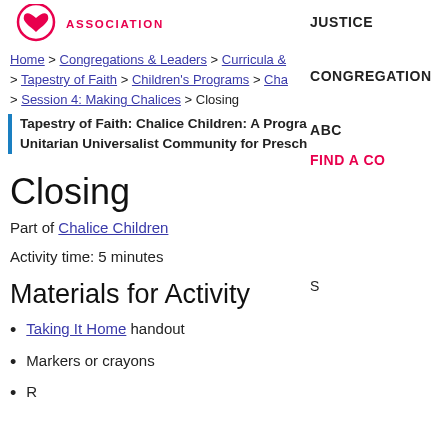ASSOCIATION | JUSTICE | CONGREGATION | ABC | FIND A CO
Home > Congregations & Leaders > Curricula & > Tapestry of Faith > Children's Programs > Cha > Session 4: Making Chalices > Closing
Tapestry of Faith: Chalice Children: A Progra Unitarian Universalist Community for Presch
Closing
Part of Chalice Children
Activity time: 5 minutes
Materials for Activity
Taking It Home handout
Markers or crayons
R...